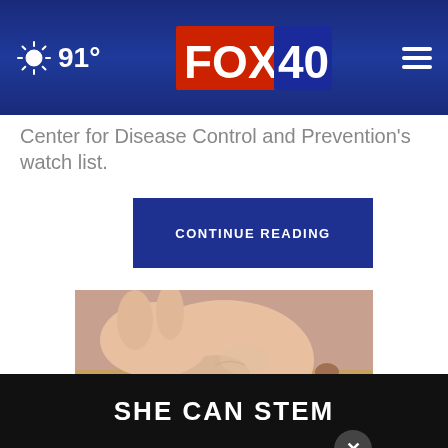FOX 40 — 91°
Center for Disease Control and Prevention's watch list.
CONTINUE READING
[Figure (photo): Close-up photo of a person's foot and ankle showing dry, flaky skin on a wooden floor background, associated with a Plaque Psoriasis advertisement.]
Do You Know What Plaque Psoriasis Is? (Take a look)
SHE CAN STEM